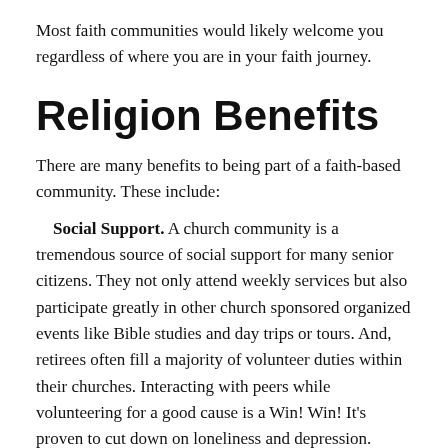Most faith communities would likely welcome you regardless of where you are in your faith journey.
Religion Benefits
There are many benefits to being part of a faith-based community. These include:
Social Support. A church community is a tremendous source of social support for many senior citizens. They not only attend weekly services but also participate greatly in other church sponsored organized events like Bible studies and day trips or tours. And, retirees often fill a majority of volunteer duties within their churches. Interacting with peers while volunteering for a good cause is a Win! Win! It’s proven to cut down on loneliness and depression.